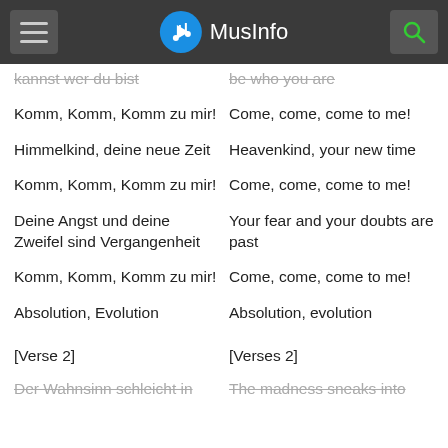MusInfo
kannst wer du bist | be who you are
Komm, Komm, Komm zu mir! | Come, come, come to me!
Himmelkind, deine neue Zeit | Heavenkind, your new time
Komm, Komm, Komm zu mir! | Come, come, come to me!
Deine Angst und deine Zweifel sind Vergangenheit | Your fear and your doubts are past
Komm, Komm, Komm zu mir! | Come, come, come to me!
Absolution, Evolution | Absolution, evolution
[Verse 2] | [Verses 2]
Der Wahnsinn schleicht in | The madness sneaks into